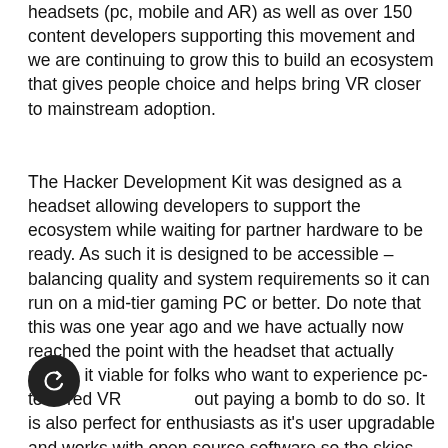headsets (pc, mobile and AR) as well as over 150 content developers supporting this movement and we are continuing to grow this to build an ecosystem that gives people choice and helps bring VR closer to mainstream adoption.
The Hacker Development Kit was designed as a headset allowing developers to support the ecosystem while waiting for partner hardware to be ready. As such it is designed to be accessible – balancing quality and system requirements so it can run on a mid-tier gaming PC or better. Do note that this was one year ago and we have actually now reached the point with the headset that actually makes it viable for folks who want to experience pc-tethered VR without paying a bomb to do so. It is also perfect for enthusiasts as it's user upgradable and works with open source software so the skies the limit with what they can do with it – without worrying about licensing issues.